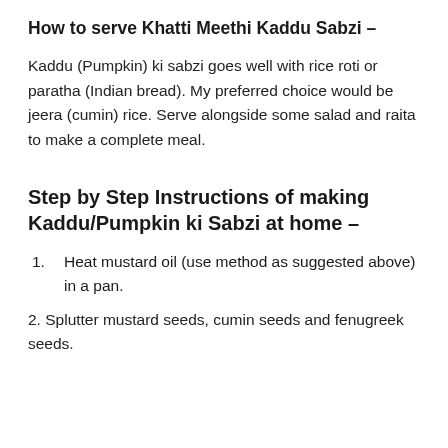How to serve Khatti Meethi Kaddu Sabzi –
Kaddu (Pumpkin) ki sabzi goes well with rice roti or paratha (Indian bread). My preferred choice would be jeera (cumin) rice. Serve alongside some salad and raita to make a complete meal.
Step by Step Instructions of making Kaddu/Pumpkin ki Sabzi at home –
Heat mustard oil (use method as suggested above) in a pan.
Splutter mustard seeds, cumin seeds and fenugreek seeds.